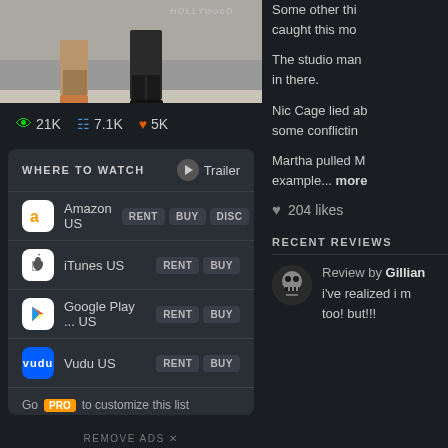[Figure (photo): Partial movie still showing legs/feet of two people in front of Hollywood sign, cropped at top of page]
👁 21K  ▪ 7.1K  ♥ 5K
WHERE TO WATCH
Trailer
Amazon US  RENT  BUY  DISC
iTunes US  RENT  BUY
Google Play ... US  RENT  BUY
Vudu US  RENT  BUY
Go PRO to customize this list
All services...
JustWatch
REMOVE ADS ×
Some other thi... caught this mo...
The studio man... in there.
Nic Cage lied ab... some conflictin...
Martha pulled M... example... more
♥ 204 likes
RECENT REVIEWS
Review by Gillian
i've realized i m... too! but!!!